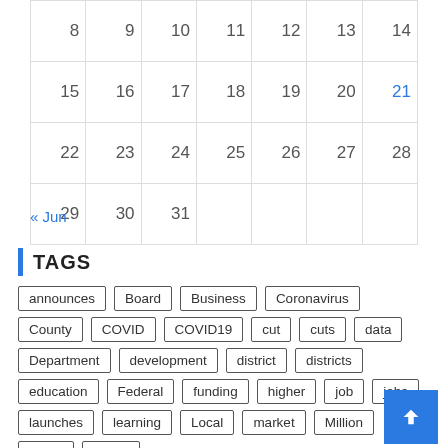| 8 | 9 | 10 | 11 | 12 | 13 | 14 |
| 15 | 16 | 17 | 18 | 19 | 20 | 21 |
| 22 | 23 | 24 | 25 | 26 | 27 | 28 |
| 29 | 30 | 31 |  |  |  |  |
« Jun
TAGS
announces
Board
Business
Coronavirus
County
COVID
COVID19
cut
cuts
data
Department
development
district
districts
education
Federal
funding
higher
job
jobs
launches
learning
Local
market
Million
News
online